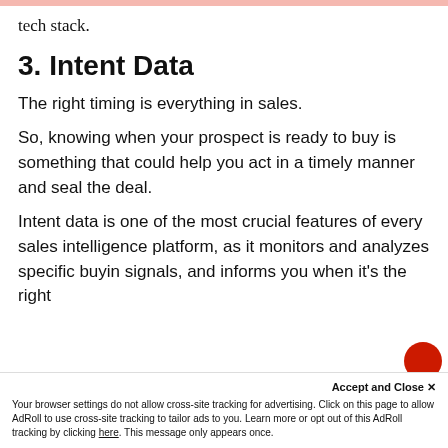tech stack.
3. Intent Data
The right timing is everything in sales.
So, knowing when your prospect is ready to buy is something that could help you act in a timely manner and seal the deal.
Intent data is one of the most crucial features of every sales intelligence platform, as it monitors and analyzes specific buyin signals, and informs you when it's the right
moment to ask contact your prosp...
Accept and Close ✕
Your browser settings do not allow cross-site tracking for advertising. Click on this page to allow AdRoll to use cross-site tracking to tailor ads to you. Learn more or opt out of this AdRoll tracking by clicking here. This message only appears once.